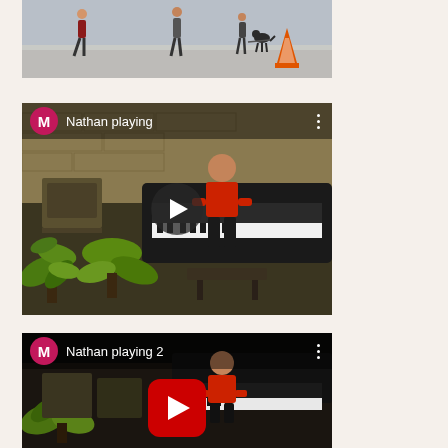[Figure (screenshot): Top portion of a video thumbnail showing a street scene with people walking and an orange traffic cone]
[Figure (screenshot): Video thumbnail titled 'Nathan playing' with magenta M avatar icon, showing a person in red playing a grand piano in a room with stone walls and tropical plants. Dark play button overlay in center.]
[Figure (screenshot): Video thumbnail titled 'Nathan playing 2' with magenta M avatar icon, showing a person in red playing a grand piano. Red YouTube play button overlay in center.]